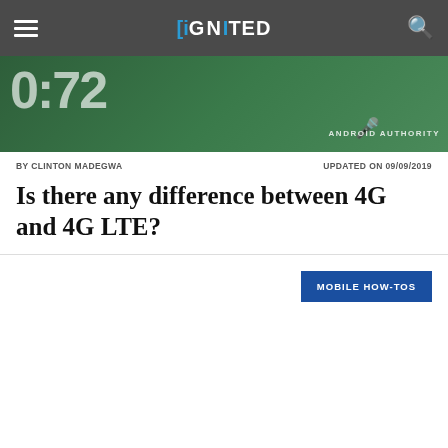iGNITED — navigation bar with hamburger menu and search icon
[Figure (photo): Hero image showing digits '0:72' on a green phone screen background with 'ANDROID AUTHORITY' watermark and microphone icon]
BY CLINTON MADEGWA     UPDATED ON 09/09/2019
Is there any difference between 4G and 4G LTE?
MOBILE HOW-TOS